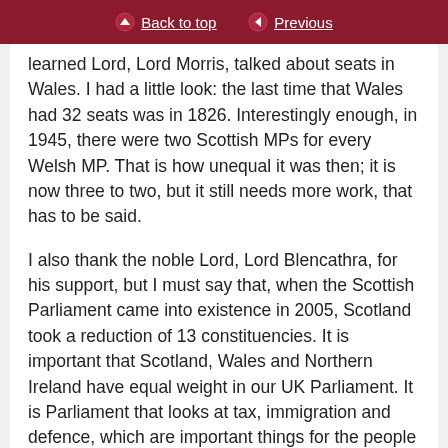Back to top | Previous
learned Lord, Lord Morris, talked about seats in Wales. I had a little look: the last time that Wales had 32 seats was in 1826. Interestingly enough, in 1945, there were two Scottish MPs for every Welsh MP. That is how unequal it was then; it is now three to two, but it still needs more work, that has to be said.
I also thank the noble Lord, Lord Blencathra, for his support, but I must say that, when the Scottish Parliament came into existence in 2005, Scotland took a reduction of 13 constituencies. It is important that Scotland, Wales and Northern Ireland have equal weight in our UK Parliament. It is Parliament that looks at tax, immigration and defence, which are important things for the people of the whole of